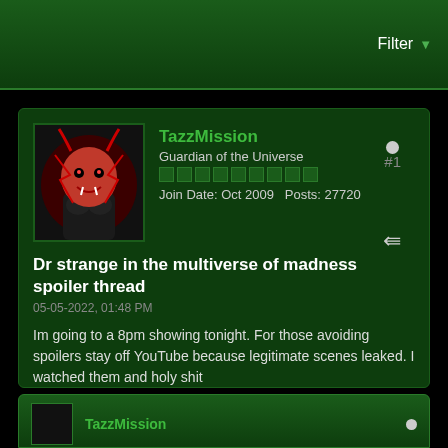Filter
[Figure (illustration): Forum user avatar: dark illustration of a muscular demonic character with red and black coloring]
TazzMission
Guardian of the Universe
Join Date: Oct 2009  Posts: 27720
Dr strange in the multiverse of madness spoiler thread
05-05-2022, 01:48 PM
Im going to a 8pm showing tonight. For those avoiding spoilers stay off YouTube because legitimate scenes leaked. I watched them and holy shit
............................................ ......................
Cnn = constant nasuating nonsense
Tags: None